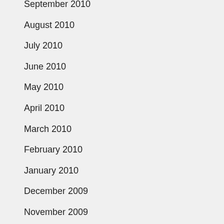September 2010
August 2010
July 2010
June 2010
May 2010
April 2010
March 2010
February 2010
January 2010
December 2009
November 2009